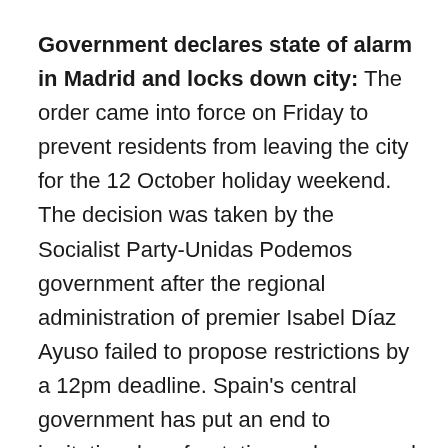Government declares state of alarm in Madrid and locks down city: The order came into force on Friday to prevent residents from leaving the city for the 12 October holiday weekend. The decision was taken by the Socialist Party-Unidas Podemos government after the regional administration of premier Isabel Díaz Ayuso failed to propose restrictions by a 12pm deadline. Spain's central government has put an end to insitutional confrontation and approved the declaration of a state of alarm for the region of Madrid from this Friday. This allows prime minister Pedro Sánchez's government to take control of Covid-19 measures and impose lockdown